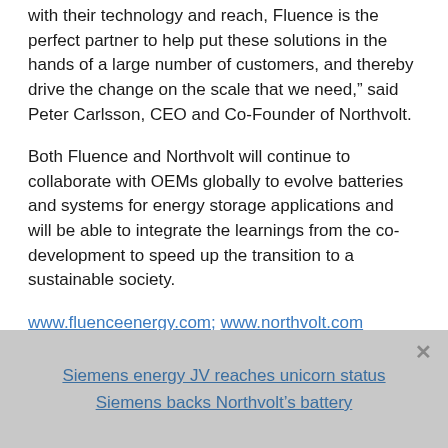with their technology and reach, Fluence is the perfect partner to help put these solutions in the hands of a large number of customers, and thereby drive the change on the scale that we need,” said Peter Carlsson, CEO and Co-Founder of Northvolt.
Both Fluence and Northvolt will continue to collaborate with OEMs globally to evolve batteries and systems for energy storage applications and will be able to integrate the learnings from the co-development to speed up the transition to a sustainable society.
www.fluenceenergy.com; www.northvolt.com
Related articles
Siemens energy JV reaches unicorn status
Siemens backs Northvolt’s battery